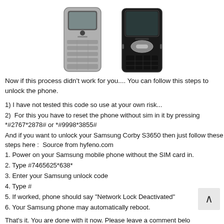[Figure (photo): Two Samsung mobile phones side by side - a silver slider phone on the left and a black candybar phone on the right]
Now if this process didn't work for you.... You can follow this steps to unlock the phone.
1) I have not tested this code so use at your own risk...
2) For this you have to reset the phone without sim in it by pressing *#2767*2878# or *#9998*3855#
And if you want to unlock your Samsung Corby S3650 then just follow these steps here : Source from hyfeno.com
1. Power on your Samsung mobile phone without the SIM card in.
2. Type #7465625*638*
3. Enter your Samsung unlock code
4. Type #
5. If worked, phone should say "Network Lock Deactivated"
6. Your Samsung phone may automatically reboot.
That's it. You are done with it now. Please leave a comment below...